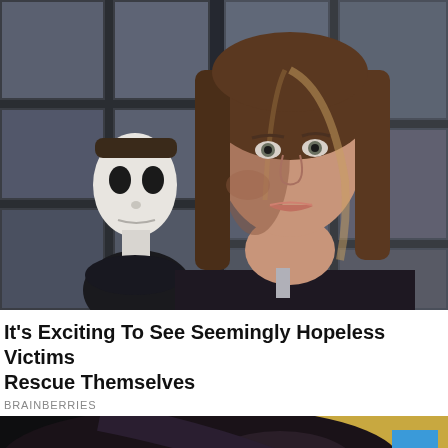[Figure (photo): A woman with long wavy brown hair looks forward with a serious expression. In the background through a large industrial window, a figure wearing a white Halloween mask (Michael Myers) peers in. Dark, dramatic lighting.]
It's Exciting To See Seemingly Hopeless Victims Rescue Themselves
BRAINBERRIES
[Figure (photo): Partial view of a woman with dark hair against a warm yellow/dark background. A blue scroll-to-top button with an upward chevron is visible in the upper-right corner.]